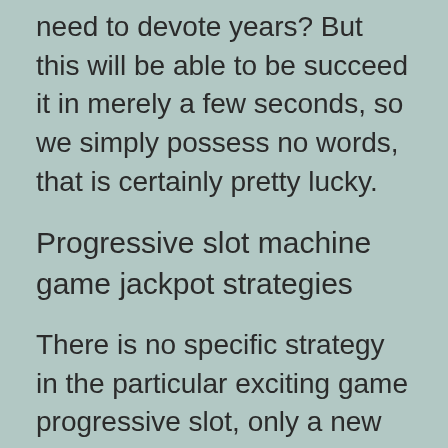need to devote years? But this will be able to be succeed it in merely a few seconds, so we simply possess no words, that is certainly pretty lucky.
Progressive slot machine game jackpot strategies
There is no specific strategy in the particular exciting game progressive slot, only a new state of chastity. However, you can give the most away from your money if you bet on the particular field throughout the game progressive slot.